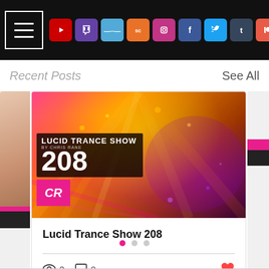Navigation header with hamburger menu and social media icons: YouTube, Twitch, Mixcloud, SoundCloud, Instagram, Facebook, Twitter, Tumblr, Patreon, Email
Recent Posts   See All
[Figure (photo): Lucid Trance Show 208 promotional thumbnail with colorful lights, DJ Chris Rane, and show branding]
Lucid Trance Show 208
2 views · 0 comments · Like